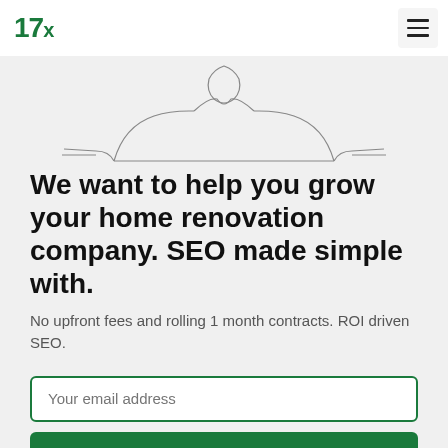17x
[Figure (illustration): Partial sketch illustration of a person's torso/shoulders, line drawing style, partially cropped at top of frame]
We want to help you grow your home renovation company. SEO made simple with.
No upfront fees and rolling 1 month contracts. ROI driven SEO.
Your email address
Get Started